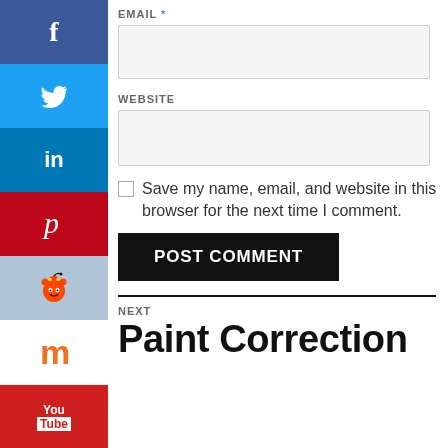EMAIL *
[Figure (screenshot): Email input field (empty, light gray background)]
WEBSITE
[Figure (screenshot): Website input field (empty, light gray background)]
Save my name, email, and website in this browser for the next time I comment.
POST COMMENT
[Figure (infographic): Social sharing sidebar with icons: Facebook, Twitter, LinkedIn, Pinterest, Reddit, Mix, YouTube, Email]
NEXT
Paint Correction